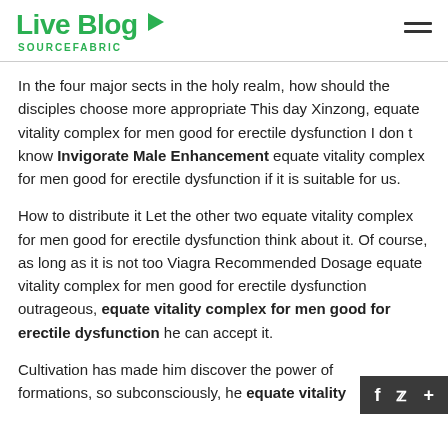Live Blog SOURCEFABRIC
In the four major sects in the holy realm, how should the disciples choose more appropriate This day Xinzong, equate vitality complex for men good for erectile dysfunction I don t know Invigorate Male Enhancement equate vitality complex for men good for erectile dysfunction if it is suitable for us.
How to distribute it Let the other two equate vitality complex for men good for erectile dysfunction think about it. Of course, as long as it is not too Viagra Recommended Dosage equate vitality complex for men good for erectile dysfunction outrageous, equate vitality complex for men good for erectile dysfunction he can accept it.
Cultivation has made him discover the power of formations, so subconsciously, he equate vitality